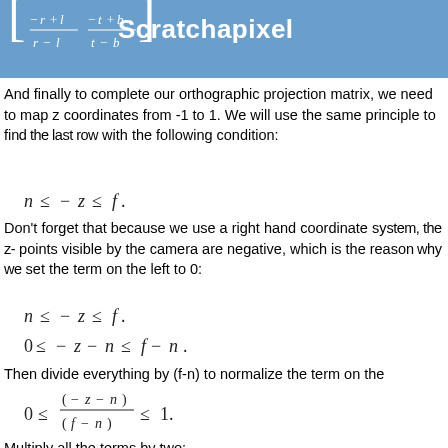Scratchapixel
And finally to complete our orthographic projection matrix, we need to map z coordinates from -1 to 1. We will use the same principle to find the last row with the following condition:
Don't forget that because we use a right hand coordinate system, the z points visible by the camera are negative, which is the reason why we set the term on the left to 0:
Then divide everything by (f-n) to normalize the term on the
Multiply all the terms by two: